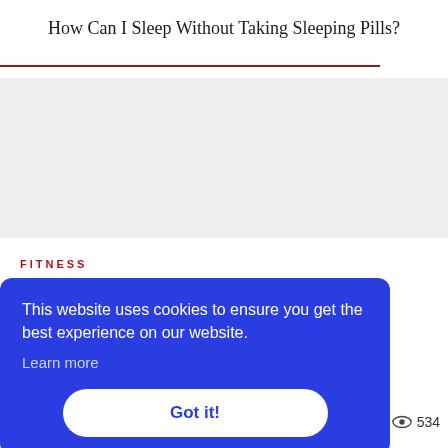How Can I Sleep Without Taking Sleeping Pills?
[Figure (other): Gray advertisement/content placeholder box]
FITNESS
This website uses cookies to ensure you get the best experience on our website. Learn more
Got it!
534